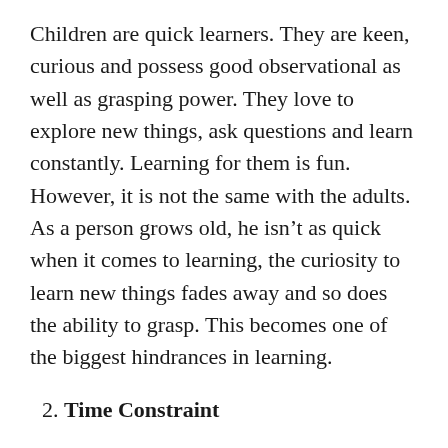Children are quick learners. They are keen, curious and possess good observational as well as grasping power. They love to explore new things, ask questions and learn constantly. Learning for them is fun. However, it is not the same with the adults. As a person grows old, he isn't as quick when it comes to learning, the curiosity to learn new things fades away and so does the ability to grasp. This becomes one of the biggest hindrances in learning.
2. Time Constraint
Another problem is time constraint. Adults are mostly working and are unable to take out much time to study. This is the reason why many of them refrain from enrolling at adult schools. Even